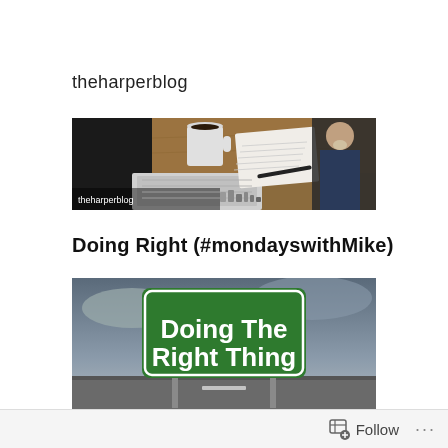theharperblog
[Figure (photo): Banner image for theharperblog showing a coffee mug, open notebook with pen, laptop keyboard on a wooden desk, overlaid with the blog name 'theharperblog', and a man with grey beard in dark jacket on the right side]
Doing Right (#mondayswithMike)
[Figure (photo): Road sign reading 'Doing The Right Thing' in white bold text on a green background, with cloudy sky and road visible in background]
Follow ...